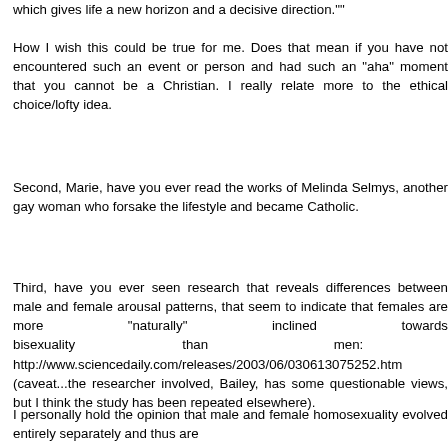which gives life a new horizon and a decisive direction.""
How I wish this could be true for me. Does that mean if you have not encountered such an event or person and had such an "aha" moment that you cannot be a Christian. I really relate more to the ethical choice/lofty idea.
Second, Marie, have you ever read the works of Melinda Selmys, another gay woman who forsake the lifestyle and became Catholic.
Third, have you ever seen research that reveals differences between male and female arousal patterns, that seem to indicate that females are more "naturally" inclined towards bisexuality than men: http://www.sciencedaily.com/releases/2003/06/030613075252.htm
(caveat...the researcher involved, Bailey, has some questionable views, but I think the study has been repeated elsewhere).
I personally hold the opinion that male and female homosexuality evolved entirely separately and thus are